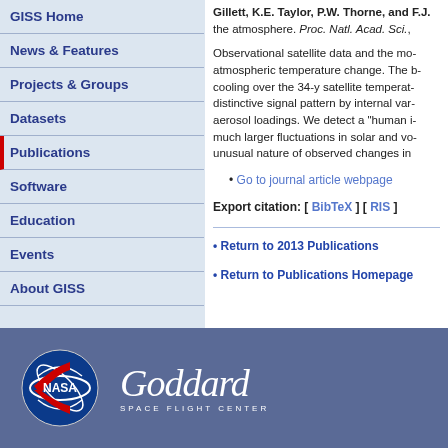GISS Home
News & Features
Projects & Groups
Datasets
Publications
Software
Education
Events
About GISS
Gillett, K.E. Taylor, P.W. Thorne, and F.J. the atmosphere. Proc. Natl. Acad. Sci.,
Observational satellite data and the mo- atmospheric temperature change. The b- cooling over the 34-y satellite temperat- distinctive signal pattern by internal var- aerosol loadings. We detect a "human i- much larger fluctuations in solar and vo- unusual nature of observed changes in
Go to journal article webpage
Export citation: [ BibTeX ] [ RIS ]
• Return to 2013 Publications
• Return to Publications Homepage
[Figure (logo): NASA meatball logo (circular blue logo with red chevron and white NASA text) alongside Goddard Space Flight Center wordmark in white italic script on blue-gray background]